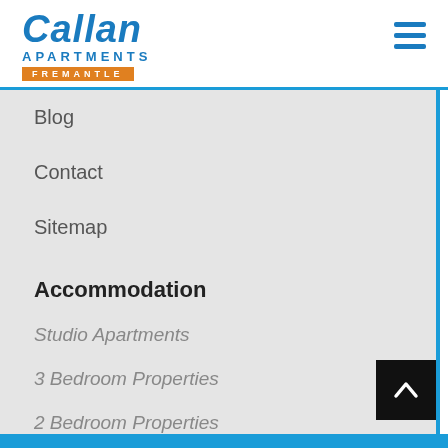[Figure (logo): Callan Apartments Fremantle logo with blue text and orange banner]
Blog
Contact
Sitemap
Accommodation
Studio Apartments
3 Bedroom Properties
2 Bedroom Properties
1 Bedroom Properties
Waterfront Properties